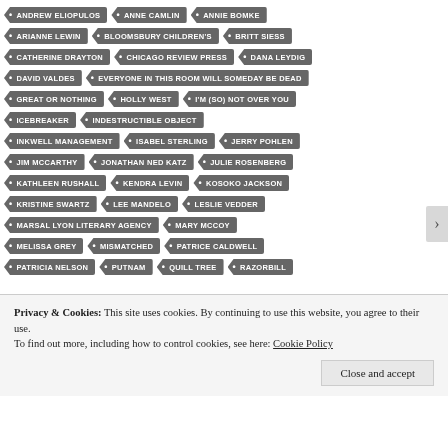ANDREW ELIOPULOS
ANNE CAMLIN
ANNIE BOMKE
ARIANNE LEWIN
BLOOMSBURY CHILDREN'S
BRITT SIESS
CATHERINE DRAYTON
CHICAGO REVIEW PRESS
DANA LEYDIG
DAVID VALDES
EVERYONE IN THIS ROOM WILL SOMEDAY BE DEAD
GREAT OR NOTHING
HOLLY WEST
I'M (SO) NOT OVER YOU
ICEBREAKER
INDESTRUCTIBLE OBJECT
INKWELL MANAGEMENT
ISABEL STERLING
JERRY POHLEN
JIM MCCARTHY
JONATHAN NED KATZ
JULIE ROSENBERG
KATHLEEN RUSHALL
KENDRA LEVIN
KOSOKO JACKSON
KRISTINE SWARTZ
LEE MANDELO
LESLIE VEDDER
MARSAL LYON LITERARY AGENCY
MARY MCCOY
MELISSA GREY
MISMATCHED
PATRICE CALDWELL
PATRICIA NELSON
PUTNAM
QUILL TREE
RAZORBILL
Privacy & Cookies: This site uses cookies. By continuing to use this website, you agree to their use.
To find out more, including how to control cookies, see here: Cookie Policy
Close and accept